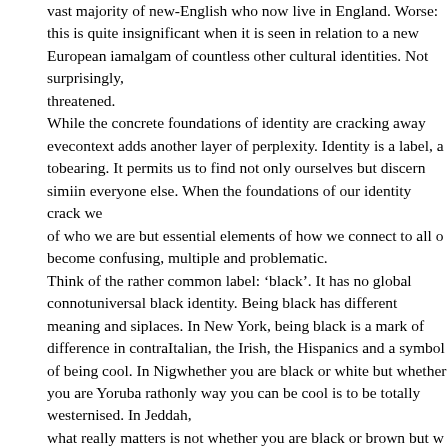vast majority of new-English who now live in England. Worse: this is quite insignificant when it is seen in relation to a new European i amalgam of countless other cultural identities. Not surprisingly, threatened. While the concrete foundations of identity are cracking away eve context adds another layer of perplexity. Identity is a label, a to bearing. It permits us to find not only ourselves but discern simi in everyone else. When the foundations of our identity crack we of who we are but essential elements of how we connect to all o become confusing, multiple and problematic. Think of the rather common label: 'black'. It has no global connot universal black identity. Being black has different meaning and si places. In New York, being black is a mark of difference in contra Italian, the Irish, the Hispanics and a symbol of being cool. In Nig whether you are black or white but whether you are Yoruba rath only way you can be cool is to be totally westernised. In Jeddah, what really matters is not whether you are black or brown but w member of the royal family. In Cape Town, to be black is, almost confused: once excluded, now technically empowered, a domina rainbow, but still practically marginalised by the history that crea